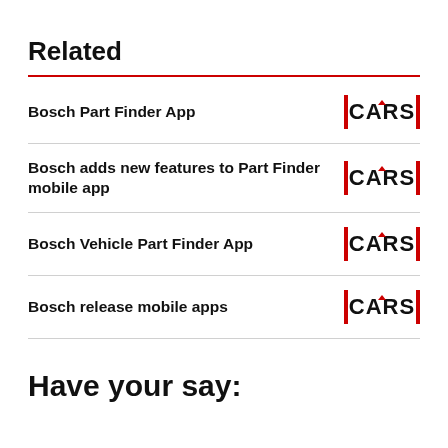Related
Bosch Part Finder App
Bosch adds new features to Part Finder mobile app
Bosch Vehicle Part Finder App
Bosch release mobile apps
Have your say: